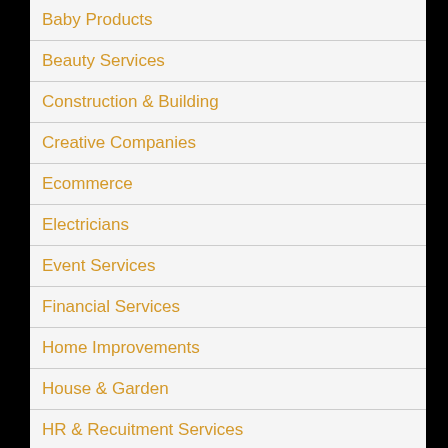Baby Products
Beauty Services
Construction & Building
Creative Companies
Ecommerce
Electricians
Event Services
Financial Services
Home Improvements
House & Garden
HR & Recuitment Services
Industrial Services